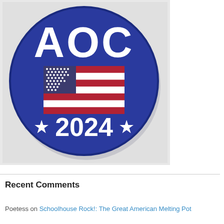[Figure (illustration): A circular blue campaign button showing 'AOC' in large white bold letters at the top, an American flag in the center, and '★ 2024 ★' in white bold text at the bottom.]
Recent Comments
Poetess on Schoolhouse Rock!: The Great American Melting Pot